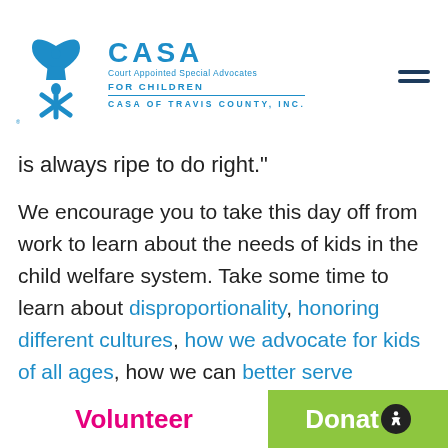CASA — Court Appointed Special Advocates FOR CHILDREN — CASA OF TRAVIS COUNTY, INC.
is always ripe to do right."
We encourage you to take this day off from work to learn about the needs of kids in the child welfare system. Take some time to learn about disproportionality, honoring different cultures, how we advocate for kids of all ages, how we can better serve LGBTQ youth in foster care, and why we should celebrate family reunification.